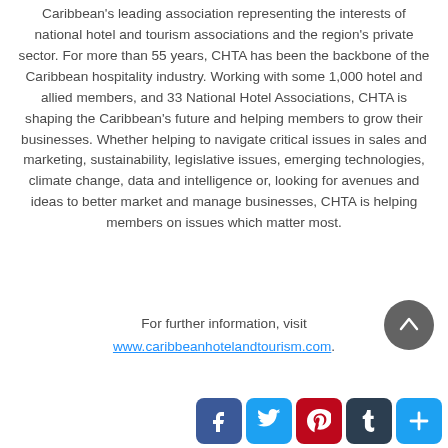Caribbean's leading association representing the interests of national hotel and tourism associations and the region's private sector. For more than 55 years, CHTA has been the backbone of the Caribbean hospitality industry. Working with some 1,000 hotel and allied members, and 33 National Hotel Associations, CHTA is shaping the Caribbean's future and helping members to grow their businesses. Whether helping to navigate critical issues in sales and marketing, sustainability, legislative issues, emerging technologies, climate change, data and intelligence or, looking for avenues and ideas to better market and manage businesses, CHTA is helping members on issues which matter most.
For further information, visit www.caribbeanhotelandtourism.com.
ENDS
[Figure (infographic): Social media share buttons: Facebook, Twitter, Pinterest, Tumblr, and a plus/share button, plus a scroll-to-top arrow button]